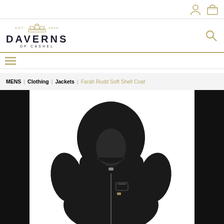Daverns of Cashel - navigation header with user and bag icons
[Figure (logo): Daverns of Cashel logo with building illustration, EST 1926]
[Figure (illustration): Hamburger menu icon (three horizontal lines)]
MENS | Clothing | Jackets | Farah Rudd Soft Shell Coat
[Figure (photo): Farah Rudd Soft Shell Coat - black hooded softshell jacket displayed on white background]